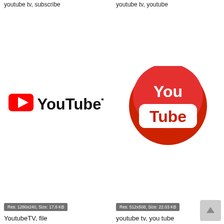youtube tv, subscribe
youtube tv, youtube
[Figure (logo): YouTubeTV text logo with red play button icon on white background]
[Figure (logo): YouTube circular red logo with You Tube text on dark red circle]
Res: 1280x240, Size: 17.8 KB
Res: 512x508, Size: 22.03 KB
YoutubeTV, file
youtube tv, you tube